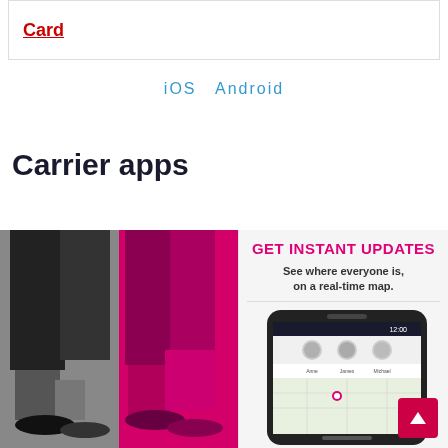Card
iOS  Android
Carrier apps
[Figure (photo): Split image showing walking legs: left half in black and white, right half in magenta/pink tones]
[Figure (screenshot): App promotional panel reading GET INSTANT UPDATES - See where everyone is, on a real-time map. Shows a smartphone screenshot of a location-sharing app with a map and profile photos.]